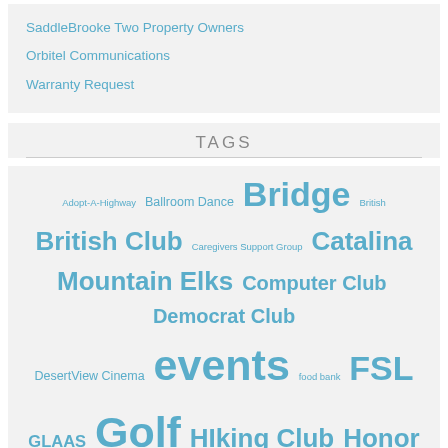SaddleBrooke Two Property Owners
Orbitel Communications
Warranty Request
TAGS
Adopt-A-Highway Ballroom Dance Bridge British British Club Caregivers Support Group Catalina Mountain Elks Computer Club Democrat Club DesertView Cinema events food bank FSL GLAAS Golf HIking Club Honor Flight Let's Dance Line Dance Military MountainView Lady Putters Movies MPLN MPWGA Nature Niners Partners Western Dance pets